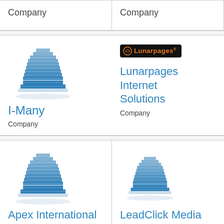Company
Company
[Figure (logo): Generic building/company icon (blue)]
I-Many
Company
[Figure (logo): Lunarpages logo (black background, orange text)]
Lunarpages Internet Solutions
Company
[Figure (logo): Generic building/company icon (blue)]
Apex International
[Figure (logo): Generic building/company icon (blue)]
LeadClick Media
Media company